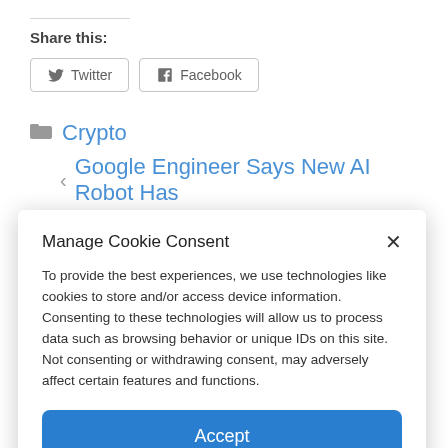Share this:
Twitter   Facebook
Crypto
Google Engineer Says New AI Robot Has
Manage Cookie Consent
To provide the best experiences, we use technologies like cookies to store and/or access device information. Consenting to these technologies will allow us to process data such as browsing behavior or unique IDs on this site. Not consenting or withdrawing consent, may adversely affect certain features and functions.
Accept
Cookie Policy